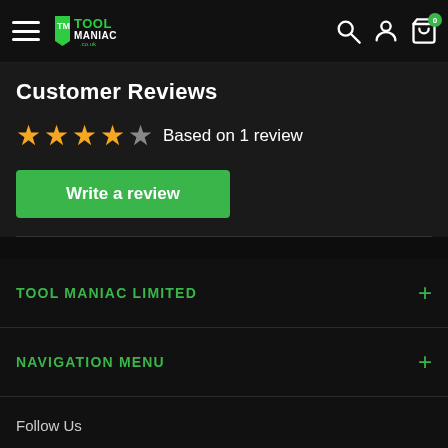Tool Maniac .co.uk — navigation bar with hamburger menu, logo, search, account, cart (0)
Customer Reviews
★★★★☆ Based on 1 review
Write a review
TOOL MANIAC LIMITED  +
NAVIGATION MENU  +
Follow Us